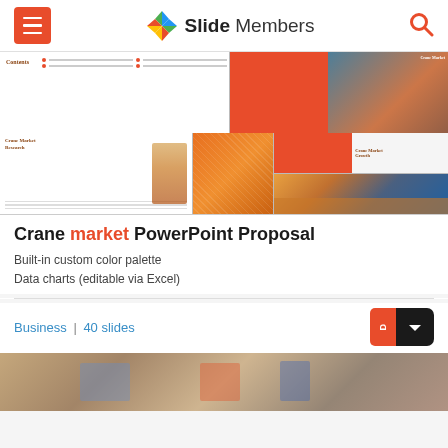Slide Members
[Figure (screenshot): Screenshot preview of Crane Market PowerPoint Proposal slides showing contents page, crane imagery, market research slides, and crane market growth slides with orange color scheme]
Crane market PowerPoint Proposal
Built-in custom color palette
Data charts (editable via Excel)
Business  |  40 slides
[Figure (photo): Bottom partial preview of another product thumbnail showing blurred retail/restaurant imagery]